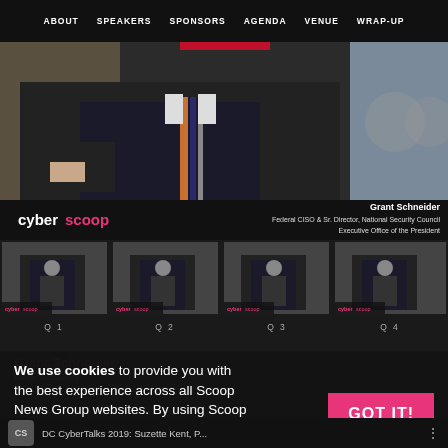ABOUT  SPEAKERS  SPONSORS  AGENDA  VENUE  WRAP-UP
[Figure (screenshot): Hero image of Grant Schneider in suit and tie, with CyberScoop logo overlay and caption: Grant Schneider, Federal CISO & Sr. Director, National Security Council, Executive Office of the President]
[Figure (screenshot): Four video thumbnails in a row showing Grant Schneider, labeled Q1, Q2, Q3, Q4]
We use cookies to provide you with the best experience across all Scoop News Group websites. By using Scoop News Group websites, you consent to the use of cookies. Learn more
DC CyberTalks 2019: Suzette Kent, P...